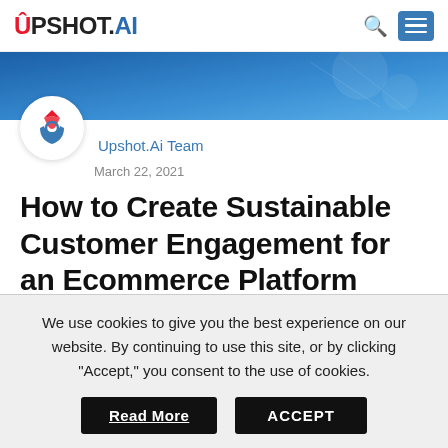UPSHOT.AI
[Figure (illustration): Upshot.AI branded banner image with blue gradient background and logo]
Upshot.Ai Team
March 22, 2021
How to Create Sustainable Customer Engagement for an Ecommerce Platform
We use cookies to give you the best experience on our website. By continuing to use this site, or by clicking "Accept," you consent to the use of cookies.
Read More   ACCEPT